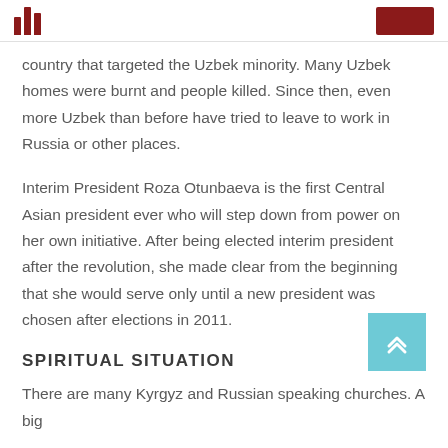[Logo] [Nav button]
country that targeted the Uzbek minority. Many Uzbek homes were burnt and people killed. Since then, even more Uzbek than before have tried to leave to work in Russia or other places.
Interim President Roza Otunbaeva is the first Central Asian president ever who will step down from power on her own initiative. After being elected interim president after the revolution, she made clear from the beginning that she would serve only until a new president was chosen after elections in 2011.
SPIRITUAL SITUATION
There are many Kyrgyz and Russian speaking churches. A big